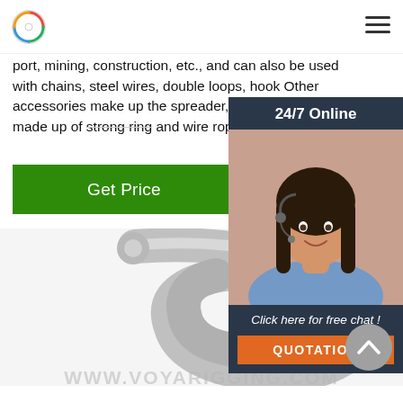Logo and navigation menu
port, mining, construction, etc., and can also be used with chains, steel wires, double loops, hook Other accessories make up the spreader, and the spreader made up of strong ring and wire rope is ...
[Figure (other): Green 'Get Price' button]
[Figure (other): 24/7 Online customer service widget with photo of a woman with headset and 'Click here for free chat!' text and orange QUOTATION button]
[Figure (photo): Close-up photo of a shiny metal S-hook / crane hook]
WWW.VOYARIGGING.COM